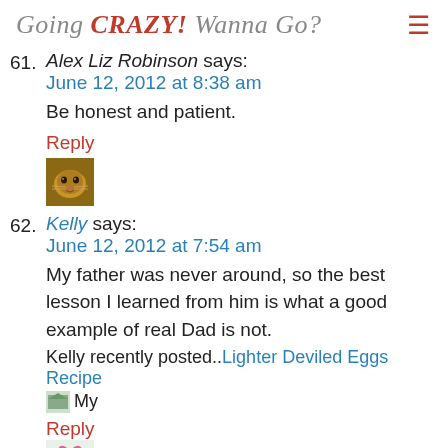Going CRAZY! Wanna Go?
61. Alex Liz Robinson says:
June 12, 2012 at 8:38 am
Be honest and patient.
Reply
62. Kelly says:
June 12, 2012 at 7:54 am
My father was never around, so the best lesson I learned from him is what a good example of real Dad is not.
Kelly recently posted..Lighter Deviled Eggs Recipe
Reply
63. Kathy Ross says:
June 12, 2012 at 1:17 am
Not to be selfish. Help others whenever you can.